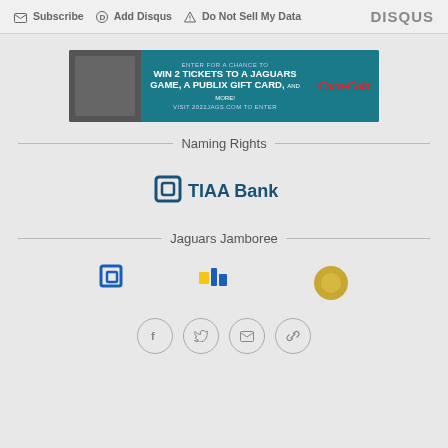Subscribe  Add Disqus  Do Not Sell My Data    DISQUS
[Figure (infographic): Advertisement banner: teal background with Coca-Cola branding. Text: ENTER FOR A CHANCE TO WIN 2 TICKETS TO A JAGUARS GAME, A PUBLIX GIFT CARD, AND MORE! VISIT 2022JAGS.COM TO ENTER]
Naming Rights
[Figure (logo): TIAA Bank logo with blue square icon outline and text 'TIAA Bank']
Jaguars Jamboree
[Figure (logo): Three partially visible sponsor logos at the bottom of the page]
Social share icons: Facebook, Twitter, Email, Link